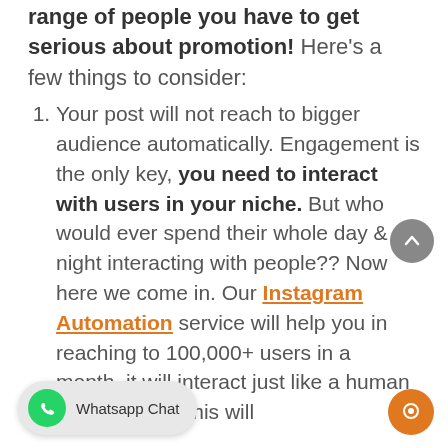range of people you have to get serious about promotion! Here's a few things to consider:
Your post will not reach to bigger audience automatically. Engagement is the only key, you need to interact with users in your niche. But who would ever spend their whole day & night interacting with people?? Now here we come in. Our Instagram Automation service will help you in reaching to 100,000+ users in a month, it will interact just like a human being would. This will